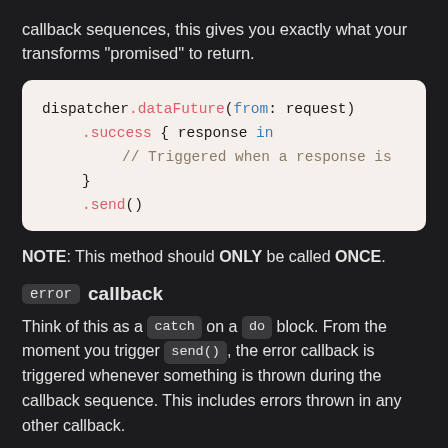callback sequences, this gives you exactly what your transforms "promised" to return.
[Figure (screenshot): Code block showing: dispatcher.dataFuture(from: request) .success { response in // Triggered when a response is } .send()]
NOTE: This method should ONLY be called ONCE.
error callback
Think of this as a catch on a do block. From the moment you trigger send(), the error callback is triggered whenever something is thrown during the callback sequence. This includes errors thrown in any other callback.